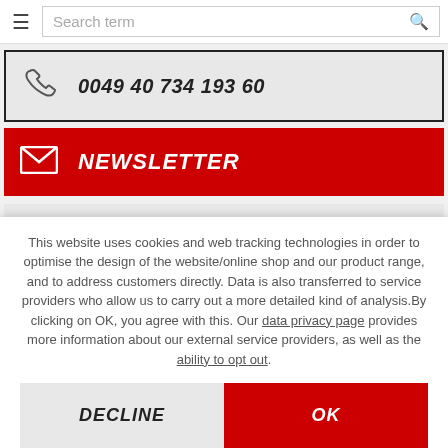Search term
0049 40 734 193 60
NEWSLETTER
Customer Service
This website uses cookies and web tracking technologies in order to optimise the design of the website/online shop and our product range, and to address customers directly. Data is also transferred to service providers who allow us to carry out a more detailed kind of analysis. By clicking on OK, you agree with this. Our data privacy page provides more information about our external service providers, as well as the ability to opt out.
DECLINE
OK